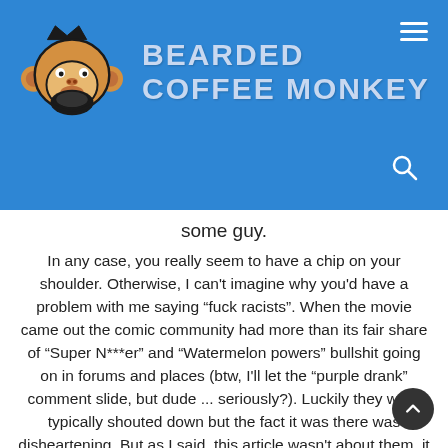[Figure (logo): Bearded Coffee Monkey logo: cartoon monkey face with crown and beard, black and white illustration on blue background, with site name 'BEARDED COFFEE MONKEY' in large gray-blue uppercase letters]
some guy.
In any case, you really seem to have a chip on your shoulder. Otherwise, I can't imagine why you'd have a problem with me saying “fuck racists”. When the movie came out the comic community had more than its fair share of “Super N***er” and “Watermelon powers” bullshit going on in forums and places (btw, I'll let the “purple drank” comment slide, but dude ... seriously?). Luckily they were typically shouted down but the fact it was there was disheartening. But as I said, this article wasn't about them, it was that people were dismissing B lack Panther just some other black superhero and my point wa s